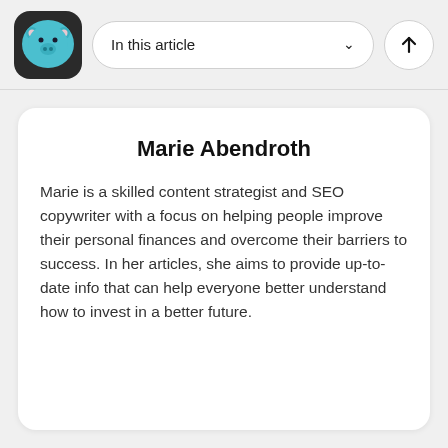[Figure (logo): Piggy Finance chatbot logo — rounded square with a teal/blue piggy bank chat bubble icon]
In this article
Marie Abendroth
Marie is a skilled content strategist and SEO copywriter with a focus on helping people improve their personal finances and overcome their barriers to success. In her articles, she aims to provide up-to-date info that can help everyone better understand how to invest in a better future.